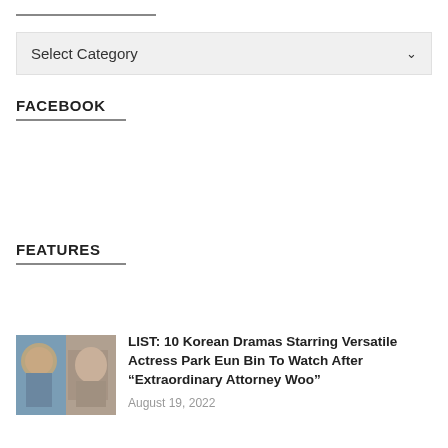Select Category
FACEBOOK
FEATURES
LIST: 10 Korean Dramas Starring Versatile Actress Park Eun Bin To Watch After “Extraordinary Attorney Woo”
August 19, 2022